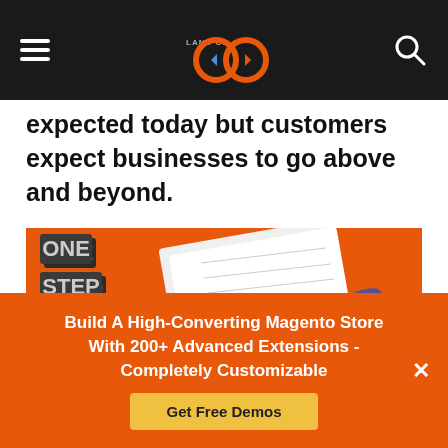Land of OD - hamburger menu and search icon
expected today but customers expect businesses to go above and beyond.
[Figure (photo): One Step Checkout promotional image showing a 3D block text spelling ONE STEP CHECKOUT on an orange background with a form, feather pen, and mobile phone]
Build A High-Converting Magento Store With 200+ Advanced Extensions - Completely Customizable
Get Free Demos